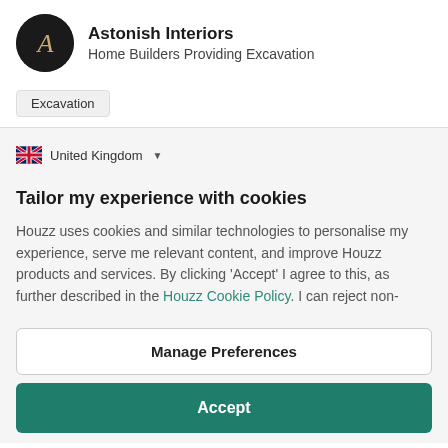Astonish Interiors — Home Builders Providing Excavation
Excavation
United Kingdom
Tailor my experience with cookies
Houzz uses cookies and similar technologies to personalise my experience, serve me relevant content, and improve Houzz products and services. By clicking 'Accept' I agree to this, as further described in the Houzz Cookie Policy. I can reject non-
Manage Preferences
Accept